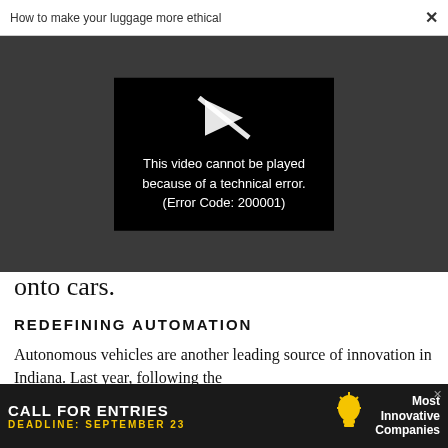How to make your luggage more ethical  ×
[Figure (screenshot): Video player showing error message: 'This video cannot be played because of a technical error. (Error Code: 200001)' on a dark background with a crossed-out play icon.]
onto cars.
REDEFINING AUTOMATION
Autonomous vehicles are another leading source of innovation in Indiana. Last year, following the
[Figure (screenshot): Advertisement banner: 'CALL FOR ENTRIES DEADLINE: SEPTEMBER 23' with a lightbulb icon and text 'Most Innovative Companies']